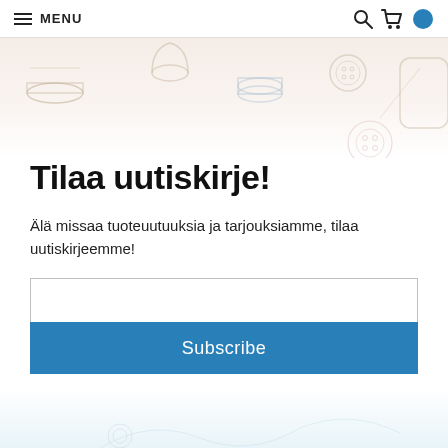MENU
[Figure (illustration): Decorative banner with sewing-related icons: thread spools, buttons, thimble, needle, fabric roll on a light warm-toned background]
Tilaa uutiskirje!
Älä missaa tuoteuutuuksia ja tarjouksiamme, tilaa uutiskirjeemme!
Subscribe (button)
By subscribing to the newsletter, you give us the permission to use your data for direct marketing. You can cancel the permission at any time. We will process your data in accordance with our Privacy Notice.